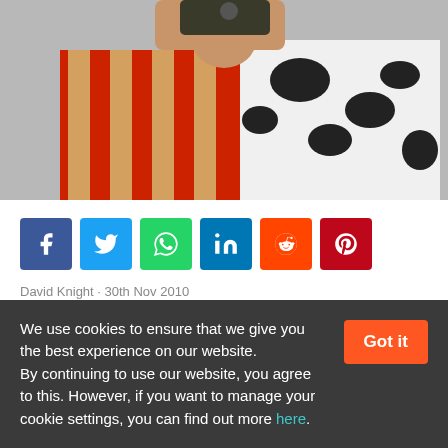[Figure (photo): A man in a patterned shirt (cow print and red stripes) looking through a camera or binoculars, photographed against a grey background. Only the upper body and hands are visible.]
Social sharing buttons: Facebook, Twitter, WhatsApp, LinkedIn, Reddit, Pinterest
David Knight · 30th Nov 2010
We use cookies to ensure that we give you the best experience on our website. By continuing to use our website, you agree to this. However, if you want to manage your cookie settings, you can find out more here.